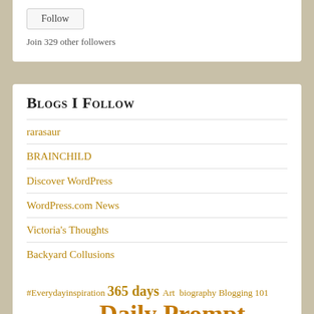Follow
Join 329 other followers
Blogs I Follow
rarasaur
BRAINCHILD
Discover WordPress
WordPress.com News
Victoria's Thoughts
Backyard Collusions
#Everydayinspiration 365 days Art biography Blogging 101 Daily Prompt